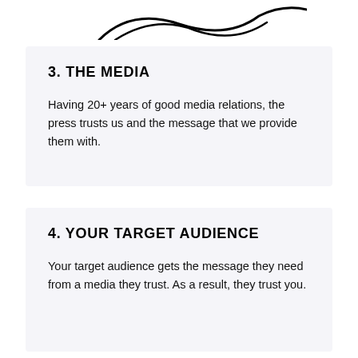[Figure (illustration): Partial illustration visible at the top of the page, appears to show a curved or wave-like line drawing, cropped at the top edge.]
3. THE MEDIA
Having 20+ years of good media relations, the press trusts us and the message that we provide them with.
4. YOUR TARGET AUDIENCE
Your target audience gets the message they need from a media they trust. As a result, they trust you.